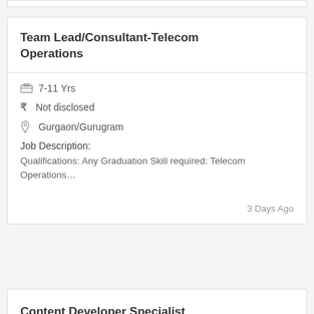Team Lead/Consultant-Telecom Operations
7-11 Yrs
Not disclosed
Gurgaon/Gurugram
Job Description:
Qualifications: Any Graduation Skill required: Telecom Operations…
3 Days Ago
Content Developer Specialist